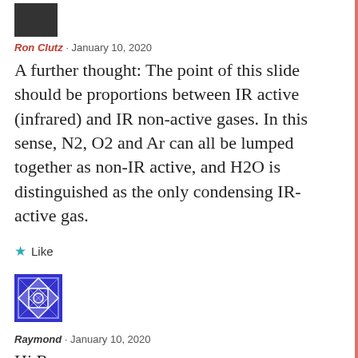[Figure (photo): Small avatar thumbnail of Ron Clutz, dark image]
Ron Clutz · January 10, 2020
A further thought: The point of this slide should be proportions between IR active (infrared) and IR non-active gases. In this sense, N2, O2 and Ar can all be lumped together as non-IR active, and H2O is distinguished as the only condensing IR-active gas.
★ Like
[Figure (illustration): Blue and white geometric patterned avatar for Raymond]
Raymond · January 10, 2020
Hi Ron
OK, I'll have a look at it. I took it down for